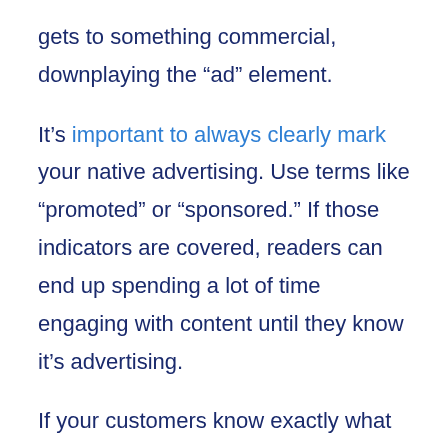gets to something commercial, downplaying the “ad” element.
It’s important to always clearly mark your native advertising. Use terms like “promoted” or “sponsored.” If those indicators are covered, readers can end up spending a lot of time engaging with content until they know it’s advertising.
If your customers know exactly what they’re getting, they’ll feel better about your brand and your content. Native ads are intended to